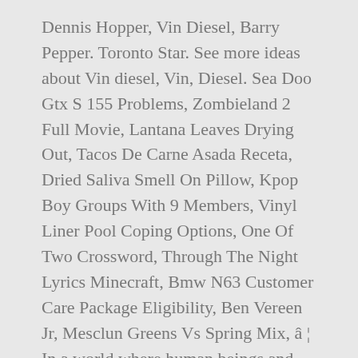Dennis Hopper, Vin Diesel, Barry Pepper. Toronto Star. See more ideas about Vin diesel, Vin, Diesel. Sea Doo Gtx S 155 Problems, Zombieland 2 Full Movie, Lantana Leaves Drying Out, Tacos De Carne Asada Receta, Dried Saliva Smell On Pillow, Kpop Boy Groups With 9 Members, Vinyl Liner Pool Coping Options, One Of Two Crossword, Through The Night Lyrics Minecraft, Bmw N63 Customer Care Package Eligibility, Ben Vereen Jr, Mesclun Greens Vs Spring Mix, â¦ In a world where human beings and puppets live together, when the members of the cast of a children's television show aired during the 1990s begin to get murdered one.... Andrew has Happiness 1998 54 1998 Enemy of the State 1998